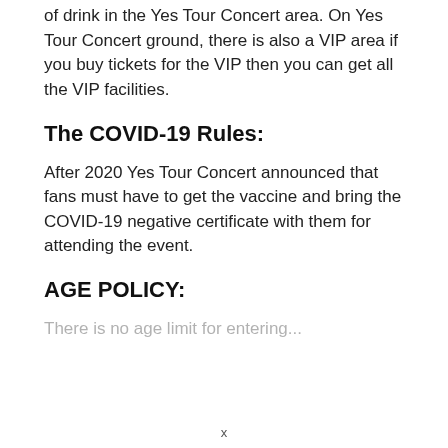of drink in the Yes Tour Concert area. On Yes Tour Concert ground, there is also a VIP area if you buy tickets for the VIP then you can get all the VIP facilities.
The COVID-19 Rules:
After 2020 Yes Tour Concert announced that fans must have to get the vaccine and bring the COVID-19 negative certificate with them for attending the event.
AGE POLICY:
There is no age limit for entering...
x